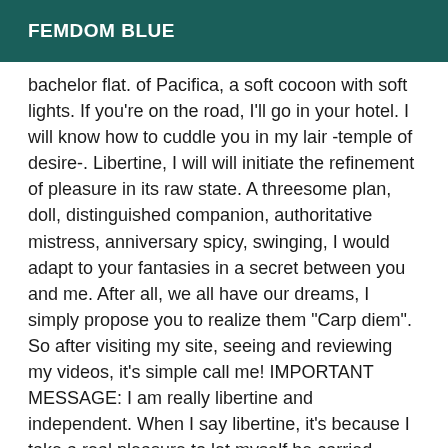FEMDOM BLUE
bachelor flat. of Pacifica, a soft cocoon with soft lights. If you're on the road, I'll go in your hotel. I will know how to cuddle you in my lair -temple of desire-. Libertine, I will will initiate the refinement of pleasure in its raw state. A threesome plan, doll, distinguished companion, authoritative mistress, anniversary spicy, swinging, I would adapt to your fantasies in a secret between you and me. After all, we all have our dreams, I simply propose you to realize them "Carp diem". So after visiting my site, seeing and reviewing my videos, it's simple call me! IMPORTANT MESSAGE: I am really libertine and independent. When I say libertine, it's because I take a real pleasure to let myself be carried along to the liking of your fantasies in my encounters with you. This means that the exchange must be a true sharing. I also have another professional activity to provide for my existential needs. I choose my partners according to these criteria. So don't blame me if I can't